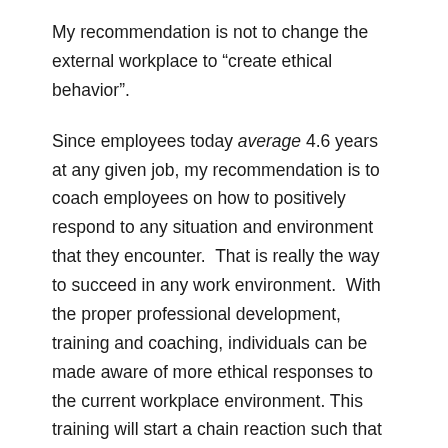My recommendation is not to change the external workplace to “create ethical behavior”.
Since employees today average 4.6 years at any given job, my recommendation is to coach employees on how to positively respond to any situation and environment that they encounter.  That is really the way to succeed in any work environment.  With the proper professional development, training and coaching, individuals can be made aware of more ethical responses to the current workplace environment. This training will start a chain reaction such that when the executives, managers, and employees start implementing this training; when they are openly executing at a higher level and when they are transparent with their goals and procedures. – the entire work environment culture experiences an ethical transformation.